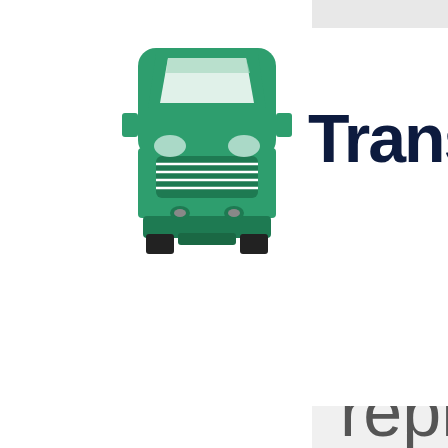[Figure (illustration): Green semi-truck / freight truck icon viewed from the front, flat design style]
Transp
reproduc

in

whole

or